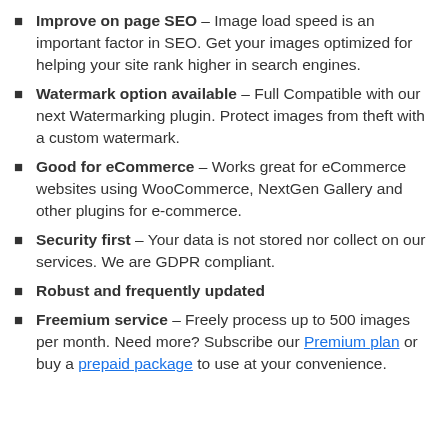Improve on page SEO – Image load speed is an important factor in SEO. Get your images optimized for helping your site rank higher in search engines.
Watermark option available – Full Compatible with our next Watermarking plugin. Protect images from theft with a custom watermark.
Good for eCommerce – Works great for eCommerce websites using WooCommerce, NextGen Gallery and other plugins for e-commerce.
Security first – Your data is not stored nor collect on our services. We are GDPR compliant.
Robust and frequently updated
Freemium service – Freely process up to 500 images per month. Need more? Subscribe our Premium plan or buy a prepaid package to use at your convenience.